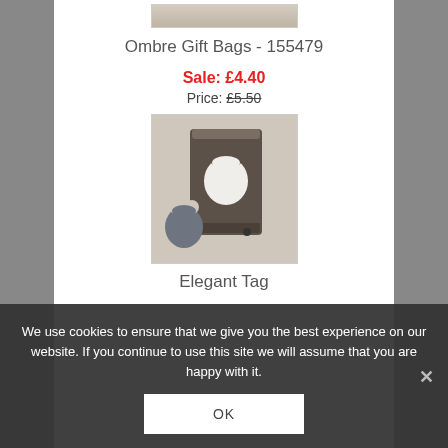[Figure (photo): Top strip image placeholder for product (ombre gift bags partial view)]
Ombre Gift Bags - 155479
Sale: £4.40
Price: £5.50
[Figure (photo): Photo of a craft punch tool (dark brown/grey box) next to a punched paper tag shape. The tag is decorative with a scalloped top resembling a gift tag or label punch.]
Elegant Tag
We use cookies to ensure that we give you the best experience on our website. If you continue to use this site we will assume that you are happy with it.
OK